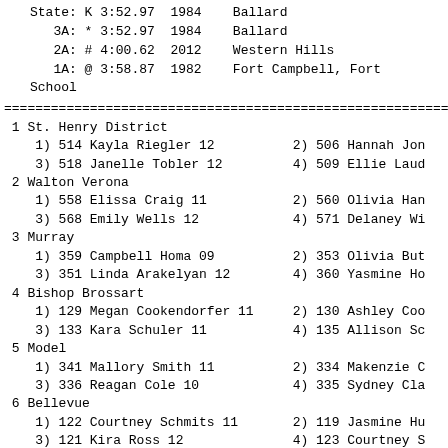State: K 3:52.97  1984    Ballard
   3A: * 3:52.97  1984    Ballard
   2A: # 4:00.62  2012    Western Hills
   1A: @ 3:58.87  1982    Fort Campbell, Fort
School
| 1 St. Henry District | 4 |
|   1) 514 Kayla Riegler 12 | 2) 506 Hannah Jon |
|   3) 518 Janelle Tobler 12 | 4) 509 Ellie Laud |
| 2 Walton Verona | 4 |
|   1) 558 Elissa Craig 11 | 2) 560 Olivia Han |
|   3) 568 Emily Wells 12 | 4) 571 Delaney Wi |
| 3 Murray | 4 |
|   1) 359 Campbell Homa 09 | 2) 353 Olivia But |
|   3) 351 Linda Arakelyan 12 | 4) 360 Yasmine Ho |
| 4 Bishop Brossart | 4 |
|   1) 129 Megan Cookendorfer 11 | 2) 130 Ashley Coo |
|   3) 133 Kara Schuler 11 | 4) 135 Allison Sc |
| 5 Model | 4 |
|   1) 341 Mallory Smith 11 | 2) 334 Makenzie C |
|   3) 336 Reagan Cole 10 | 4) 335 Sydney Cla |
| 6 Bellevue | 4 |
|   1) 122 Courtney Schmits 11 | 2) 119 Jasmine Hu |
|   3) 121 Kira Ross 12 | 4) 123 Courtney S |
| 7 Hancock County | 4 |
|   1) 239 Lexi Nicholas 10 | 2) 236 Alex Kratz |
|   3) 243 Emily Woodward 10 | 4) 244 Sydney You |
| 8 Fort Knox | 4 |
|   1) 188 Tatiana Bracero 11 | 2) 190 Jenna Doeh |
|   3) 198 Taylor Nordman 09 | 4) 191 Brinkley C |